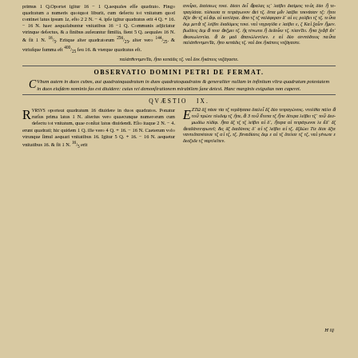primus 1 Q. Oportet igitur 16 − 1 Q. aequales esse quadrato. Fingo quadratum a numeris quotquot liburit, cum defectu tot vnitatum quot continet latus ipsum 1z, esto 2 2 N. − 4. ipse igitur quadratus erit 4 Q. + 16. − 16 N. haec aequabuntur vnitatibus 16 − 1 Q. Communis adjiciatur vtrinque defectus, & a finibus auferantur similia, fient 5 Q. aequales 16 N. & fit 1 N. 16/5. Eritque alter quadratorum 256/25, alter vero 144/25. & vtriusque summa est 400/25 seu 16. & vterque quadratus est.
Greek text (right column, top)
Footer Greek line
OBSERVATIO DOMINI PETRI DE FERMAT.
Cubum autem in duos cubos, aut quadratoquadratum in duos quadratoquadratos & generaliter nullam in infinitum ultra quadratum potestatem in duos eiusdem nominis fas est diuidere: cuius rei demonstrationem mirabilem sane detexi. Hanc marginis exiguitas non caperet.
QVAESTIO IX.
Rursus oporteat quadratum 16 diuidere in duos quadratos. Ponatur rursus prima latus 1 N. alterius vero quaecunque numerorum cum defectu tot vnitatum, quae constat latus diuidendi. Esto itaque 2 N. − 4. erunt quadrati; hic quidem 1 Q. ille vero 4 Q. + 16. − 16 N. Caeterum volo vtrunque simul aequari vnitatibus 16. Igitur 5 Q. + 16. − 16 N. aequetur vnitatibus 16. & fit 1 N. 16/5 erit
Greek text right column bottom
H iij